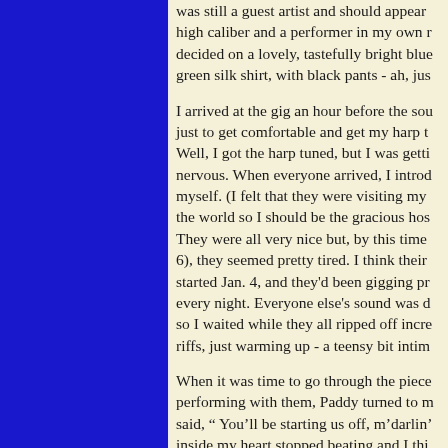was still a guest artist and should appear high caliber and a performer in my own r... decided on a lovely, tastefully bright blue green silk shirt, with black pants - ah, jus...
I arrived at the gig an hour before the sou just to get comfortable and get my harp t... Well, I got the harp tuned, but I was getti nervous. When everyone arrived, I introd myself. (I felt that they were visiting my the world so I should be the gracious hos... They were all very nice but, by this time 6), they seemed pretty tired. I think their started Jan. 4, and they'd been gigging pr every night. Everyone else's sound was d so I waited while they all ripped off incre riffs, just warming up - a teensy bit intim...
When it was time to go through the piece performing with them, Paddy turned to m said, " You'll be starting us off, m'darlin' inside my heart stopped beating and I thi stopped breathing, but, being a pretty fai from all my many years performing, I thi a fairly calm exterior as I replied, "Lovel then, off we go." or something to that eff...